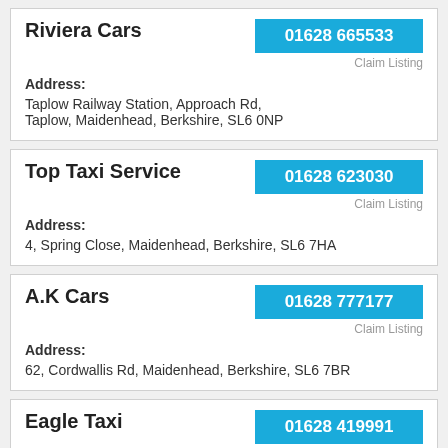Riviera Cars | 01628 665533 | Address: Taplow Railway Station, Approach Rd, Taplow, Maidenhead, Berkshire, SL6 0NP
Top Taxi Service | 01628 623030 | Address: 4, Spring Close, Maidenhead, Berkshire, SL6 7HA
A.K Cars | 01628 777177 | Address: 62, Cordwallis Rd, Maidenhead, Berkshire, SL6 7BR
Eagle Taxi | 01628 419991